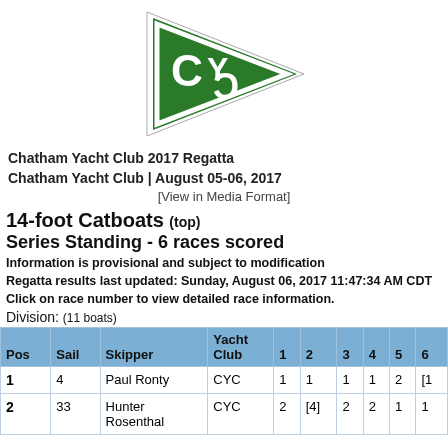[Figure (logo): Chatham Yacht Club green pennant logo with CYC letters]
Chatham Yacht Club 2017 Regatta
Chatham Yacht Club | August 05-06, 2017
[View in Media Format]
14-foot Catboats (top)
Series Standing - 6 races scored
Information is provisional and subject to modification
Regatta results last updated: Sunday, August 06, 2017 11:47:34 AM CDT
Click on race number to view detailed race information.
Division: (11 boats)
| Pos | Sail | Skipper | Yacht Club | 1 | 2 | 3 | 4 | 5 | 6 |
| --- | --- | --- | --- | --- | --- | --- | --- | --- | --- |
| 1 | 4 | Paul Ronty | CYC | 1 | 1 | 1 | 1 | 2 | [1 |
| 2 | 33 | Hunter Rosenthal | CYC | 2 | [4] | 2 | 2 | 1 | 1 |